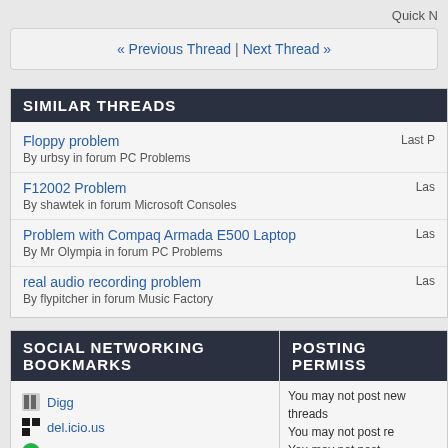Quick N
« Previous Thread | Next Thread »
SIMILAR THREADS
Floppy problem
By urbsy in forum PC Problems
Last P
F12002 Problem
By shawtek in forum Microsoft Consoles
Las
Problem with Compaq Armada E500 Laptop
By Mr Olympia in forum PC Problems
Las
real audio recording problem
By flypitcher in forum Music Factory
Las
SOCIAL NETWORKING BOOKMARKS
POSTING PERMISS
Digg
del.icio.us
StumbleUpon
Google
Facebook
You may not post new threads
You may not post re
You may not post attachments
You may not edit yo